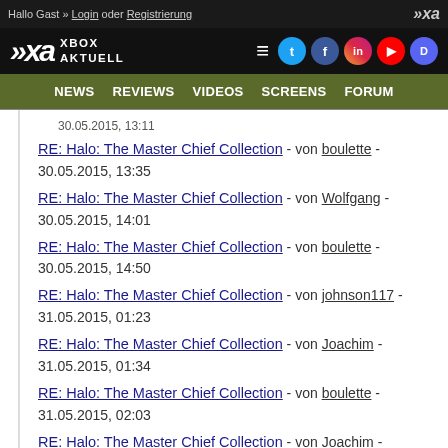Hallo Gast » Login oder Registrierung
[Figure (logo): Xbox Aktuell logo with social media icons]
NEWS  REVIEWS  VIDEOS  SCREENS  FORUM
30.05.2015, 13:11
RE: Halo: The Master Chief Collection - von boulette - 30.05.2015, 13:35
RE: Halo: The Master Chief Collection - von Wolfgang - 30.05.2015, 14:01
RE: Halo: The Master Chief Collection - von boulette - 30.05.2015, 14:50
RE: Halo: The Master Chief Collection - von johnson117 - 31.05.2015, 01:23
RE: Halo: The Master Chief Collection - von Joachim - 31.05.2015, 01:34
RE: Halo: The Master Chief Collection - von boulette - 31.05.2015, 02:03
RE: Halo: The Master Chief Collection - von Joachim - 31.05.2015, ...